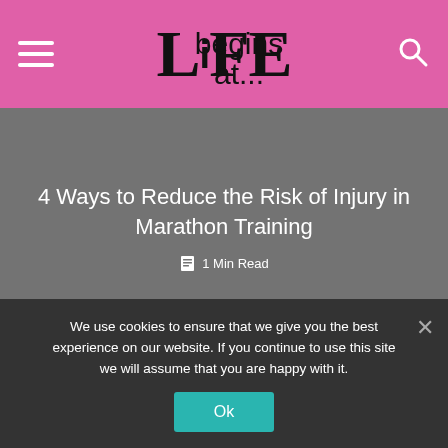begins at... LiFE
4 Ways to Reduce the Risk of Injury in Marathon Training
1 Min Read
About the author
VIEW ALL POSTS
We use cookies to ensure that we give you the best experience on our website. If you continue to use this site we will assume that you are happy with it.
Ok